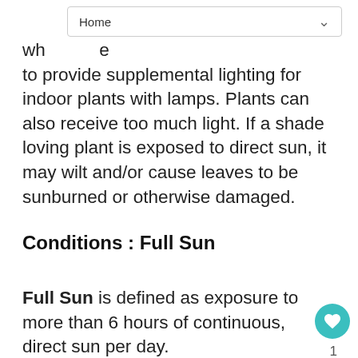Home
wh...e to provide supplemental lighting for indoor plants with lamps. Plants can also receive too much light. If a shade loving plant is exposed to direct sun, it may wilt and/or cause leaves to be sunburned or otherwise damaged.
Conditions : Full Sun
Full Sun is defined as exposure to more than 6 hours of continuous, direct sun per day.
💧 Watering
Conditions : Regular Moisture for Outdoor